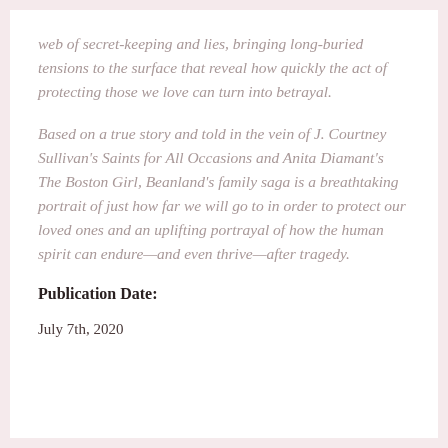web of secret-keeping and lies, bringing long-buried tensions to the surface that reveal how quickly the act of protecting those we love can turn into betrayal.
Based on a true story and told in the vein of J. Courtney Sullivan's Saints for All Occasions and Anita Diamant's The Boston Girl, Beanland's family saga is a breathtaking portrait of just how far we will go to in order to protect our loved ones and an uplifting portrayal of how the human spirit can endure—and even thrive—after tragedy.
Publication Date:
July 7th, 2020